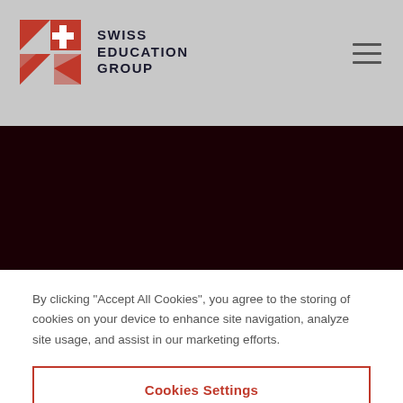[Figure (logo): Swiss Education Group logo with red cross shield icon and text SWISS EDUCATION GROUP]
[Figure (screenshot): Dark red/black banner area with a teal loading spinner in the center]
By clicking "Accept All Cookies", you agree to the storing of cookies on your device to enhance site navigation, analyze site usage, and assist in our marketing efforts.
Cookies Settings
Reject All
Accept All Cookies